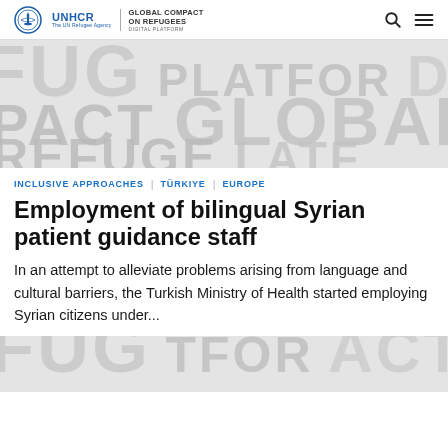UNHCR | GLOBAL COMPACT ON REFUGEES DIGITAL PLATFORM
[Figure (illustration): Banner with large overlapping text words: FUG, PLATFOR, ACT, DI, GLOBAL, C, REFUGE, LATF in grey on light grey background]
INCLUSIVE APPROACHES | TÜRKIYE | EUROPE
Employment of bilingual Syrian patient guidance staff
In an attempt to alleviate problems arising from language and cultural barriers, the Turkish Ministry of Health started employing Syrian citizens under...
[Figure (illustration): Partial banner with large overlapping text words: FUG, TFOR, ACT, DI, GLOBAL, LIG in grey on light grey background]